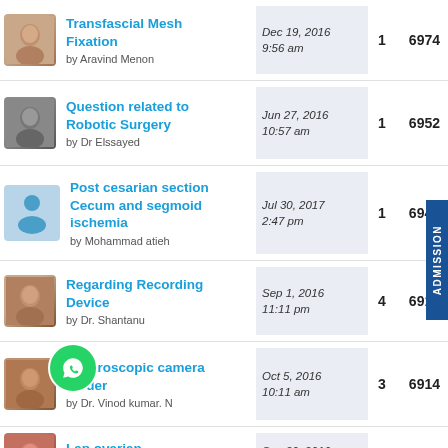Transfascial Mesh Fixation by Aravind Menon | Dec 19, 2016 9:56 am | replies: 1 | views: 6974
Question related to Robotic Surgery by Dr Elssayed | Jun 27, 2016 10:57 am | replies: 1 | views: 6952
Post cesarian section Cecum and segmoid ischemia by Mohammad atieh | Jul 30, 2017 2:47 pm | replies: 1 | views: 6946
Regarding Recording Device by Dr. Shantanu | Sep 1, 2016 11:11 pm | replies: 4 | views: 6915
Laparoscopic camera holder by Dr. Vinod kumar. N | Oct 5, 2016 10:11 am | replies: 3 | views: 6914
Lap ovarian cystectomy | Sep 20, 2016 8:30 am | replies: 2 | views: 6908